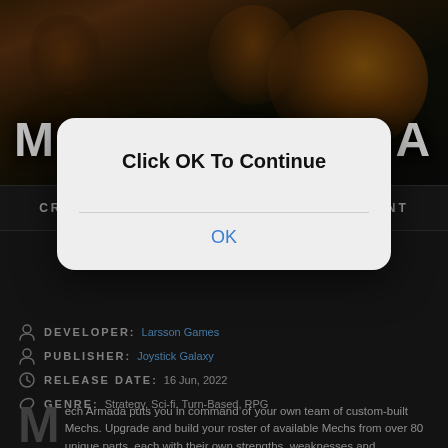[Figure (screenshot): Hero banner for Mech Armada game showing robot mechs with orange/yellow coloring against dark background]
MECH ARMADA
CRACKED — FREE DOWNLOAD — TORRENT
Game Overview
DEVELOPER: Larsson Games
PUBLISHER: Joystick Galaxy
RELEASE DATE: 16 Jun, 2022
GENRE: Strategy, Sci-fi, Turn-Based, RPG
Mech Armada puts you in command of your own team of custom-built Mechs. Upgrade and build your roster of available Mechs from over 80 unique parts, each with their own strengths, weaknesses and
[Figure (screenshot): Modal dialog popup over game page saying 'Click OK To Continue' with an OK button]
Click OK To Continue
OK